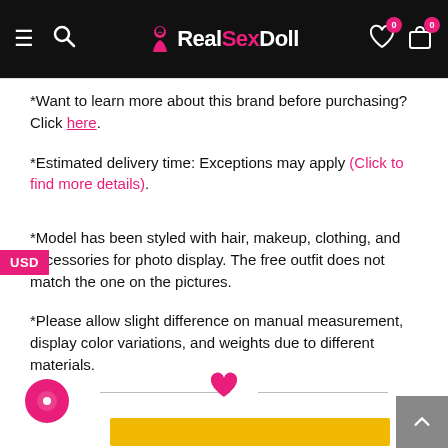RealSexDoll
*Want to learn more about this brand before purchasing? Click here.
*Estimated delivery time: Exceptions may apply (Click to find more details).
*Model has been styled with hair, makeup, clothing, and accessories for photo display. The free outfit does not match the one on the pictures.
*Please allow slight difference on manual measurement, display color variations, and weights due to different materials.